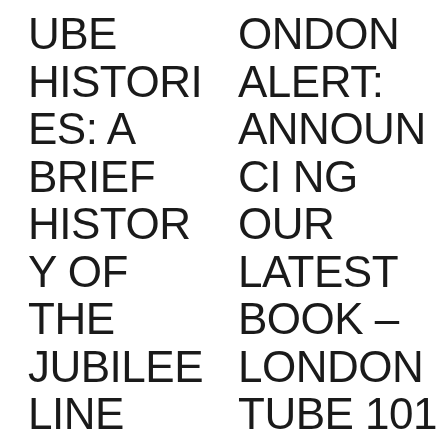TUBE HISTORIES: A BRIEF HISTORY OF THE JUBILEE LINE
LONDON ALERT: ANNOUNCING OUR LATEST BOOK – LONDON TUBE 101 – HISTORY, CULTURE, AND TRAVEL ON LONDON'S